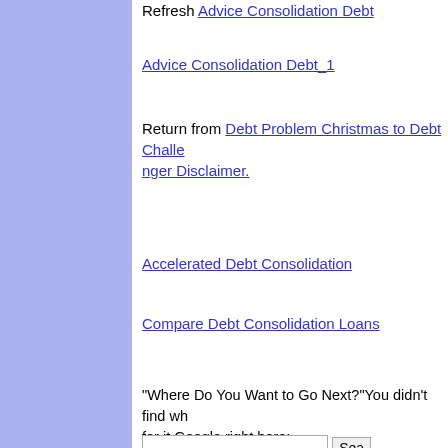Refresh Advice Consolidation Debt
Advice Consolidation Debt_1
Return from Debt Problem Christmas to Debt Challe... Disclaimer.
Accelerated Debt Consolidation
Compare Debt Consolidation Loans
"Where Do You Want to Go Next?"You didn't find wh... for it Google right here:
[Figure (screenshot): Google Custom Search box with search button]
Get Tips and Alert De... Right To Your Email I...
First Name: [input field]
Email: [input field]
Submit button